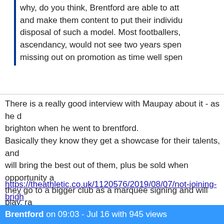why, do you think, Brentford are able to att and make them content to put their individu disposal of such a model. Most footballers, ascendancy, would not see two years spen missing out on promotion as time well spen
There is a really good interview with Maupay about it - as he d brighton when he went to brentford.
Basically they know they get a showcase for their talents, and will bring the best out of them, plus be sold when opportunity a they go to a bigger club as a marquee signing and will play, ra
https://theathletic.co.uk/1120576/2019/08/07/not-joining-brigh
If you want to read article and can't let me know as I have gue
Poll: Club vs country? What would you choose
Blog: What is Going on With the Academy at Ipswich Town?
1
Brentford on 09:03 - Jul 16 with 945 views